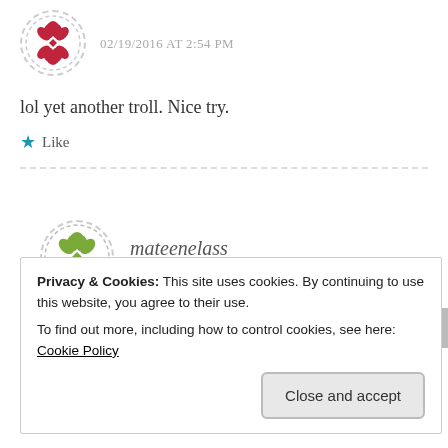[Figure (illustration): Red decorative avatar icon with dashed circular border for commenter]
02/19/2016 AT 2:54 PM
lol yet another troll. Nice try.
Like
[Figure (illustration): Green decorative avatar icon with dashed circular border for mateenelass]
mateenelass
02/22/2016 AT 7:54 PM
Privacy & Cookies: This site uses cookies. By continuing to use this website, you agree to their use.
To find out more, including how to control cookies, see here: Cookie Policy